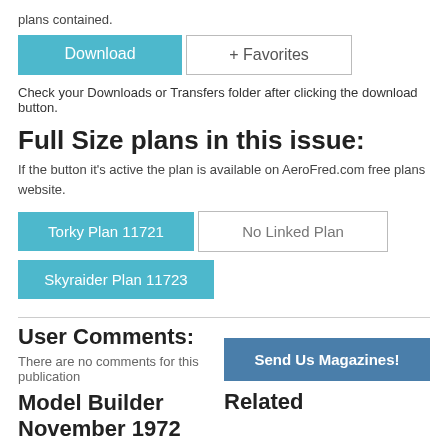plans contained.
Download   + Favorites
Check your Downloads or Transfers folder after clicking the download button.
Full Size plans in this issue:
If the button it's active the plan is available on AeroFred.com free plans website.
Torky Plan 11721   No Linked Plan
Skyraider Plan 11723
User Comments:
There are no comments for this publication
Model Builder November 1972
Send Us Magazines!
Related